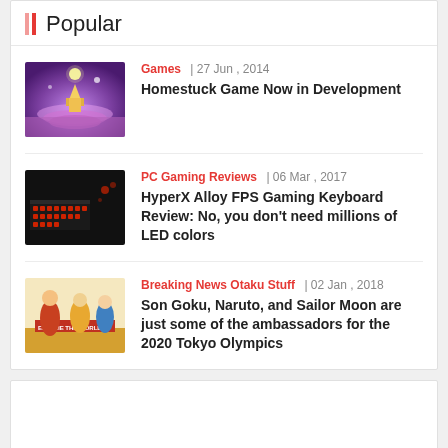Popular
Games | 27 Jun , 2014 — Homestuck Game Now in Development
PC Gaming Reviews | 06 Mar , 2017 — HyperX Alloy FPS Gaming Keyboard Review: No, you don't need millions of LED colors
Breaking News Otaku Stuff | 02 Jan , 2018 — Son Goku, Naruto, and Sailor Moon are just some of the ambassadors for the 2020 Tokyo Olympics